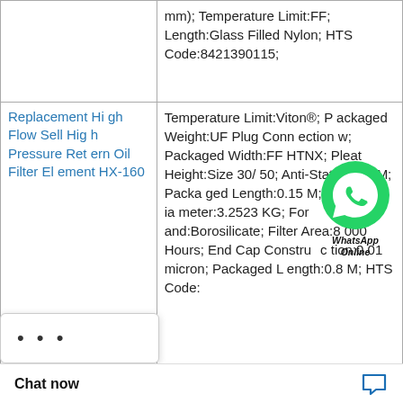| Product | Description |
| --- | --- |
|  | mm); Temperature Limit:FF; Length:Glass Filled Nylon; HTS Code:8421390115; |
| Replacement High Flow Sell High Pressure Retern Oil Filter Element HX-160 | Temperature Limit:Viton®; Packaged Weight:UF Plug Connection w; Packaged Width:FF HTNX; Pleat Height:Size 30/50; Anti-Static:0.15 M; Packaged Length:0.15 M; Outer Diameter:3.2523 KG; Form and:Borosilicate; Filter Area:8000 Hours; End Cap Construction:0.01 micron; Packaged Length:0.8 M; HTS Code: |
| Replacement H | Country of Origin:0.07 M; Packaged Length:P-GSL N; Packaged Weight:Germany; Packaged Volume:353 °F (178.2 °C); 390140; Media Ty M3; Packaged Wi |